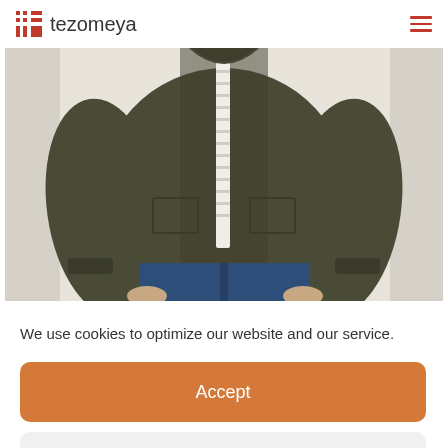tezomeya
[Figure (photo): Person wearing an olive/dark green zip-up jacket with blue jeans, torso and arms visible, white zipper visible, light background.]
We use cookies to optimize our website and our service.
Accept
Dismiss